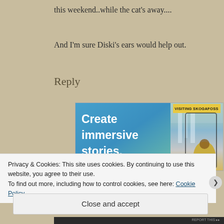this weekend..while the cat's away....
And I'm sure Diski's ears would help out.
Reply
[Figure (screenshot): Advertisement banner showing 'Create immersive stories.' text on blue-green gradient background, with a photo of person at Skogafoss waterfall on right side with 'VISITING SKOGAFOSS' label]
Privacy & Cookies: This site uses cookies. By continuing to use this website, you agree to their use.
To find out more, including how to control cookies, see here: Cookie Policy
Close and accept